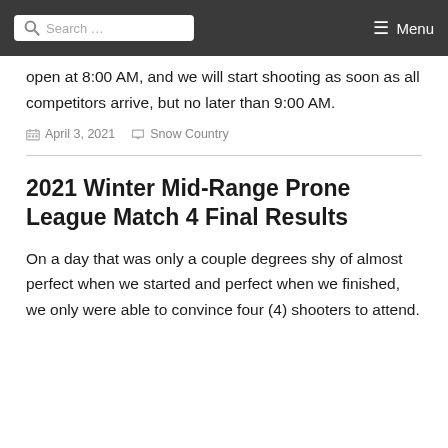Search ... Menu
open at 8:00 AM, and we will start shooting as soon as all competitors arrive, but no later than 9:00 AM.
April 3, 2021  Snow Country
2021 Winter Mid-Range Prone League Match 4 Final Results
On a day that was only a couple degrees shy of almost perfect when we started and perfect when we finished, we only were able to convince four (4) shooters to attend.